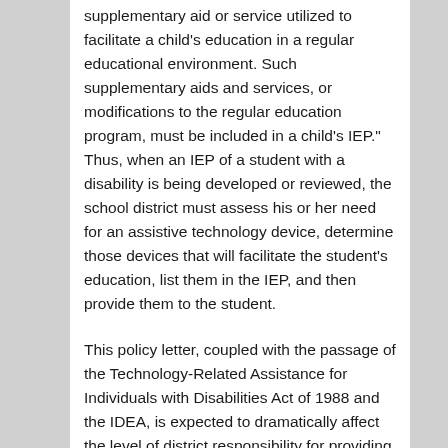"assistive technology can be a form of supplementary aid or service utilized to facilitate a child's education in a regular educational environment. Such supplementary aids and services, or modifications to the regular education program, must be included in a child's IEP." Thus, when an IEP of a student with a disability is being developed or reviewed, the school district must assess his or her need for an assistive technology device, determine those devices that will facilitate the student's education, list them in the IEP, and then provide them to the student.
This policy letter, coupled with the passage of the Technology-Related Assistance for Individuals with Disabilities Act of 1988 and the IDEA, is expected to dramatically affect the level of district responsibility for providing related aids, devices,